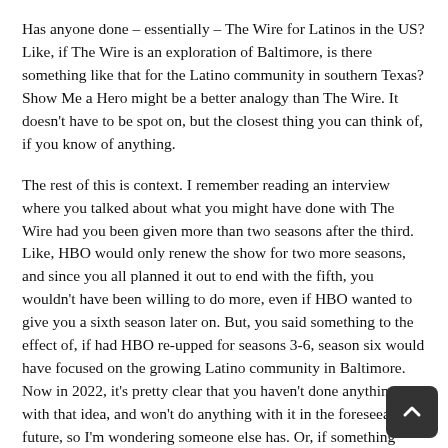Has anyone done – essentially – The Wire for Latinos in the US? Like, if The Wire is an exploration of Baltimore, is there something like that for the Latino community in southern Texas? Show Me a Hero might be a better analogy than The Wire. It doesn't have to be spot on, but the closest thing you can think of, if you know of anything.
The rest of this is context. I remember reading an interview where you talked about what you might have done with The Wire had you been given more than two seasons after the third. Like, HBO would only renew the show for two more seasons, and since you all planned it out to end with the fifth, you wouldn't have been willing to do more, even if HBO wanted to give you a sixth season later on. But, you said something to the effect of, if had HBO re-upped for seasons 3-6, season six would have focused on the growing Latino community in Baltimore. Now in 2022, it's pretty clear that you haven't done anything with that idea, and won't do anything with it in the foreseeable future, so I'm wondering someone else has. Or, if something reasonably close has been made. The closest I can thin